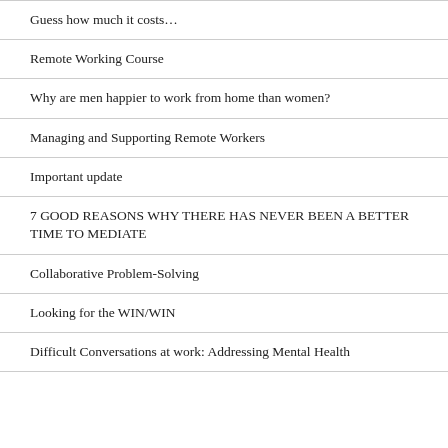Guess how much it costs…
Remote Working Course
Why are men happier to work from home than women?
Managing and Supporting Remote Workers
Important update
7 GOOD REASONS WHY THERE HAS NEVER BEEN A BETTER TIME TO MEDIATE
Collaborative Problem-Solving
Looking for the WIN/WIN
Difficult Conversations at work: Addressing Mental Health